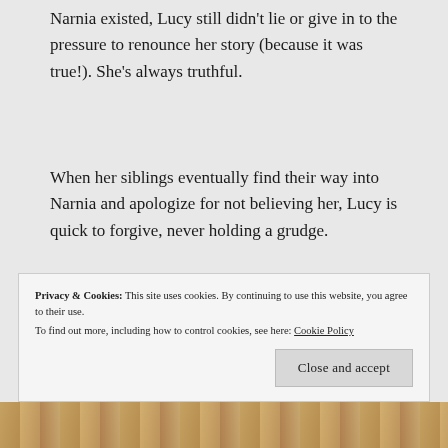Narnia existed, Lucy still didn't lie or give in to the pressure to renounce her story (because it was true!). She's always truthful.
When her siblings eventually find their way into Narnia and apologize for not believing her, Lucy is quick to forgive, never holding a grudge.
Lucy always believes that Aslan is there and will come through for them, even when her family and friends can't see it, showing her simple yet strong faith in what she knows to be true yet can't always see.
Privacy & Cookies: This site uses cookies. By continuing to use this website, you agree to their use. To find out more, including how to control cookies, see here: Cookie Policy
[Figure (photo): Bottom strip showing partial image, appears to be hair/person, brownish-golden tones]